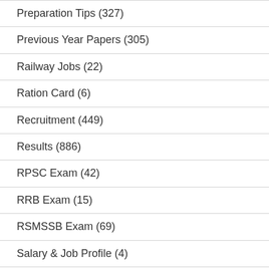Preparation Tips (327)
Previous Year Papers (305)
Railway Jobs (22)
Ration Card (6)
Recruitment (449)
Results (886)
RPSC Exam (42)
RRB Exam (15)
RSMSSB Exam (69)
Salary & Job Profile (4)
Scheme/Yojana (53)
Scholarship Exam (25)
SSC (47)